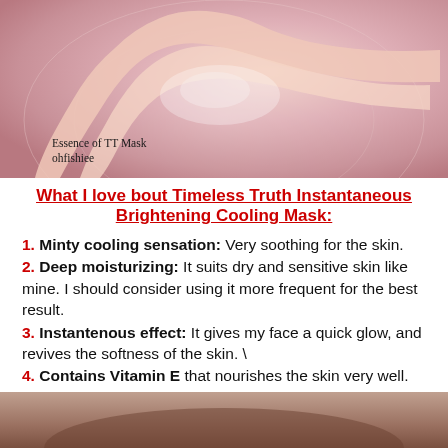[Figure (photo): A hand with palm facing up holding a gel/serum product, with a pink background. Watermark text reads 'Essence of TT Mask' and 'ohfishiee'.]
What I love bout Timeless Truth Instantaneous Brightening Cooling Mask:
1. Minty cooling sensation: Very soothing for the skin.
2. Deep moisturizing: It suits dry and sensitive skin like mine. I should consider using it more frequent for the best result.
3. Instantenous effect: It gives my face a quick glow, and revives the softness of the skin. \
4. Contains Vitamin E that nourishes the skin very well.
[Figure (photo): Partial photo visible at the bottom of the page, showing a dark-toned image.]